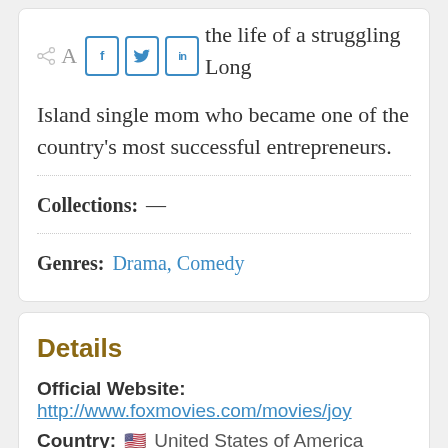the life of a struggling Long Island single mom who became one of the country's most successful entrepreneurs.
Collections:  —
Genres:  Drama, Comedy
Details
Official Website:
http://www.foxmovies.com/movies/joy
Country:  🇺🇸  United States of America
Language:  Spanish, English